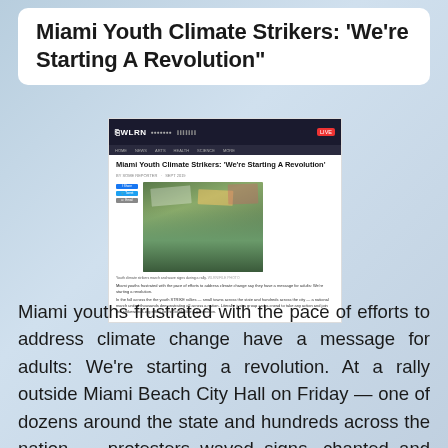Miami Youth Climate Strikers: 'We're Starting A Revolution"
[Figure (screenshot): Screenshot of a WLRN news article page showing the headline 'Miami Youth Climate Strikers: We're Starting A Revolution' with a photo of protesters holding signs at a rally, social sharing buttons, byline, and article text.]
Miami youths frustrated with the pace of efforts to address climate change have a message for adults: We're starting a revolution. At a rally outside Miami Beach City Hall on Friday — one of dozens around the state and hundreds across the nation — protesters waved signs, chanted and expressed outrage at the lack of action. The rally was organized by local students and adults and part of the strikewithus.org effort sponsored by